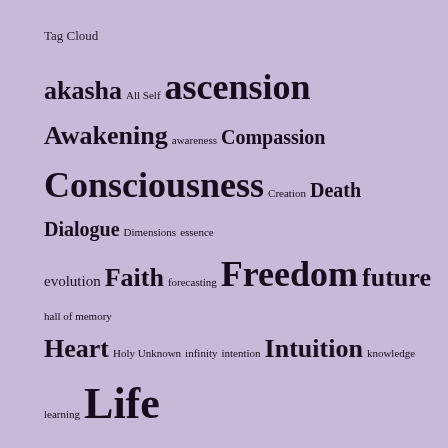Tag Cloud
[Figure (infographic): Tag cloud on lavender/purple background showing various words in different sizes indicating frequency/importance. Words include: akasha, All Self, ascension, Awakening, awareness, Compassion, Consciousness, Creation, Death, Dialogue, Dimensions, essence, evolution, Faith, forecasting, Freedom, future, hall of memory, Heart, Holy Unknown, infinity, intention, Intuition, knowledge, learning, Life, Love, mind, mission, Moment, momentum, muse, musing, mutation, mysteries, myth, Nature, Noticing, Now, nurture, Oneness, openness, participation, Peace, portals, predicting, Presence, psychobiology, reality, rebirth, release, resistance, resonance, sensation, sensibility, silence, Soul, Space, spirit, Stillness, sub-]